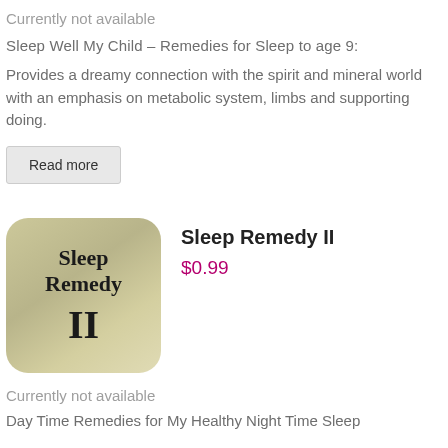Currently not available
Sleep Well My Child – Remedies for Sleep to age 9:
Provides a dreamy connection with the spirit and mineral world with an emphasis on metabolic system, limbs and supporting doing.
Read more
[Figure (illustration): Product image for Sleep Remedy II — a rounded square badge with a tan/olive gradient background, displaying the text 'Sleep Remedy' on top and 'II' in large Roman numerals below.]
Sleep Remedy II
$0.99
Currently not available
Day Time Remedies for My Healthy Night Time Sleep